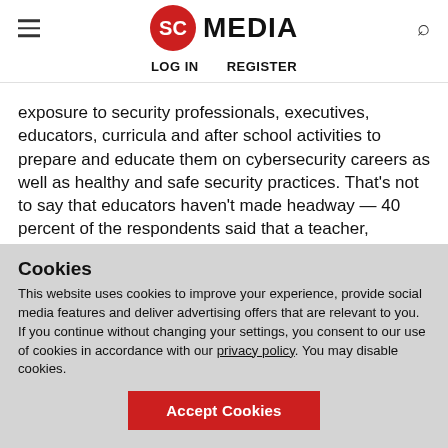SC MEDIA | LOG IN | REGISTER
exposure to security professionals, executives, educators, curricula and after school activities to prepare and educate them on cybersecurity careers as well as healthy and safe security practices. That's not to say that educators haven't made headway — 40 percent of the respondents said that a teacher, counselor or adult in an extracurricular program broached the ideas of a cybersecurity career. That's up from
Cookies
This website uses cookies to improve your experience, provide social media features and deliver advertising offers that are relevant to you. If you continue without changing your settings, you consent to our use of cookies in accordance with our privacy policy. You may disable cookies.
Accept Cookies